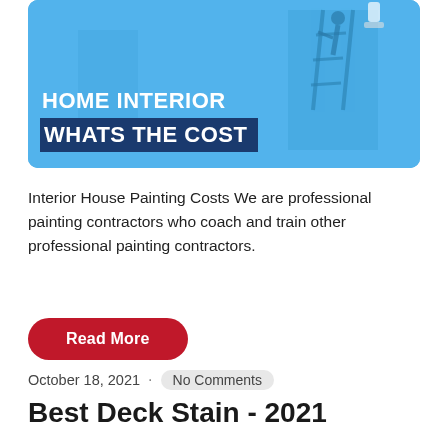[Figure (illustration): Blue banner image with a person on a ladder painting, overlaid with bold white text 'HOME INTERIOR WHATS THE COST' with the second line on a dark navy background block.]
Interior House Painting Costs We are professional painting contractors who coach and train other professional painting contractors.
Read More
October 18, 2021 · No Comments
Best Deck Stain - 2021